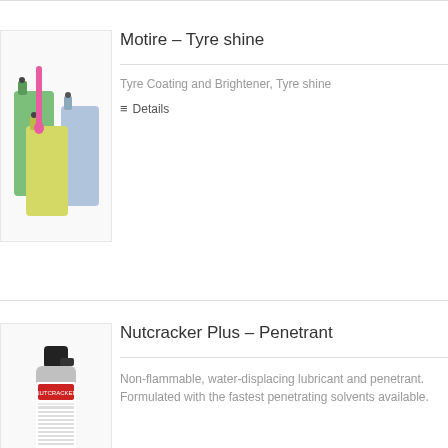[Figure (photo): Multiple plastic jerry cans/containers in green, yellow, pink/red and blue colors with liquid pouring from one]
Motire – Tyre shine
Tyre Coating and Brightener, Tyre shine
≡ Details
[Figure (photo): Aerosol spray can with black cap, labeled Nutcracker Plus penetrant]
Nutcracker Plus – Penetrant
Non-flammable, water-displacing lubricant and penetrant. Formulated with the fastest penetrating solvents available.